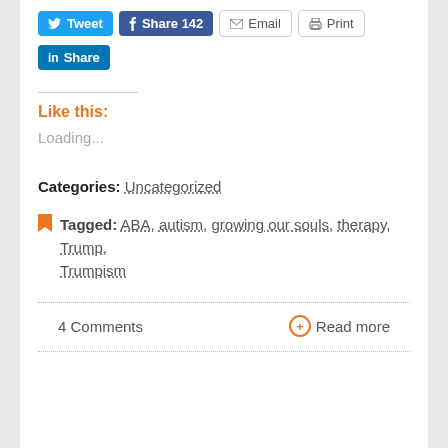[Figure (screenshot): Social sharing buttons row: Tweet (Twitter/blue), Share 142 (Facebook/blue), Email (grey border), Print (grey border), and LinkedIn Share button below]
Like this:
Loading...
Categories: Uncategorized
Tagged: ABA, autism, growing our souls, therapy, Trump, Trumpism
4 Comments
+ Read more